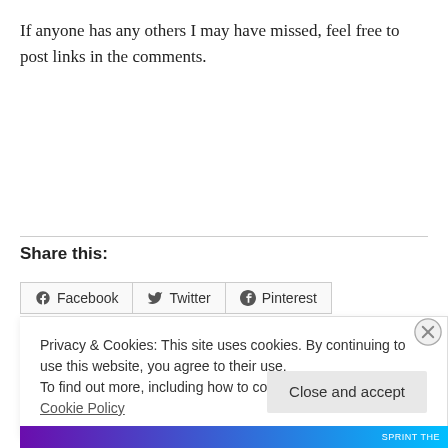If anyone has any others I may have missed, feel free to post links in the comments.
Share this:
Facebook  Twitter  Pinterest
Privacy & Cookies: This site uses cookies. By continuing to use this website, you agree to their use.
To find out more, including how to control cookies, see here: Cookie Policy
Close and accept